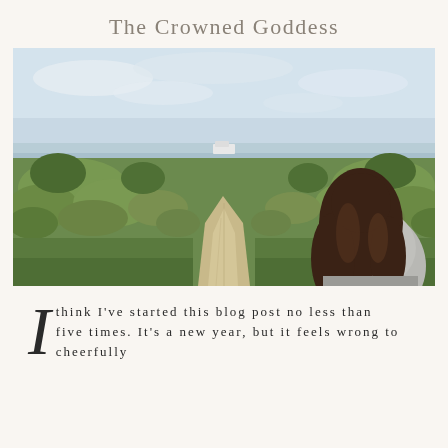The Crowned Goddess
[Figure (photo): Woman with long curly brown hair seen from behind, standing on a sandy dirt path through green coastal scrubland, a white van visible in the distance near the horizon under a cloudy sky.]
I think I've started this blog post no less than five times. It's a new year, but it feels wrong to cheerfully